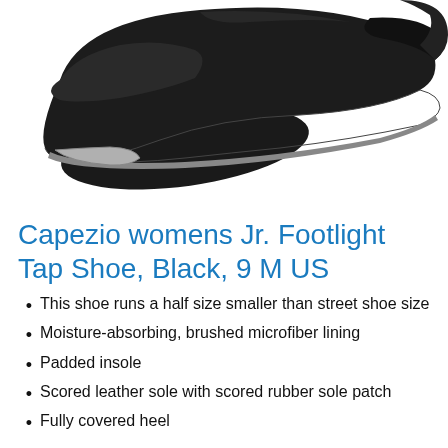[Figure (photo): Black tap dance shoe (Capezio Jr. Footlight Tap Shoe) viewed from the side/top angle, showing the black upper and tap on the toe, against a white background. The shoe is cropped at the top of the image.]
Capezio womens Jr. Footlight Tap Shoe, Black, 9 M US
This shoe runs a half size smaller than street shoe size
Moisture-absorbing, brushed microfiber lining
Padded insole
Scored leather sole with scored rubber sole patch
Fully covered heel